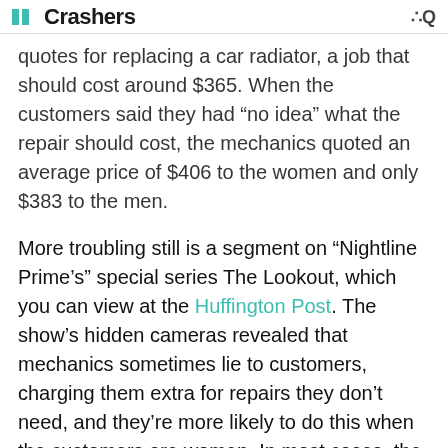Crashers
quotes for replacing a car radiator, a job that should cost around $365. When the customers said they had “no idea” what the repair should cost, the mechanics quoted an average price of $406 to the women and only $383 to the men.
More troubling still is a segment on “Nightline Prime’s” special series The Lookout, which you can view at the Huffington Post. The show’s hidden cameras revealed that mechanics sometimes lie to customers, charging them extra for repairs they don’t need, and they’re more likely to do this when the customers are women. In most cases, the mechanics didn’t even perform the additional repairs, since they weren’t necessary in the first place.